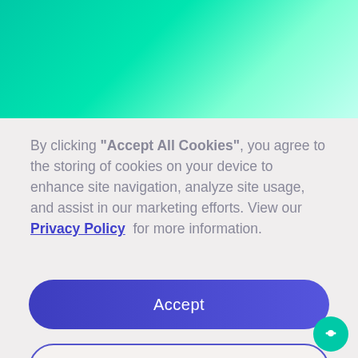[Figure (illustration): Teal/mint green gradient banner at top of page, fading from deep teal on left to light mint on right]
By clicking “Accept All Cookies”, you agree to the storing of cookies on your device to enhance site navigation, analyze site usage, and assist in our marketing efforts. View our Privacy Policy for more information.
Accept
Deny
Preferences
[Figure (illustration): Teal circular chat bubble icon in bottom right corner]